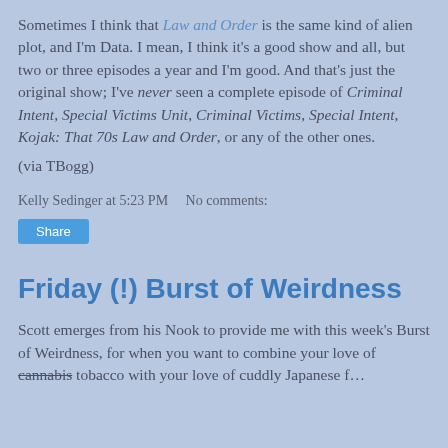Sometimes I think that Law and Order is the same kind of alien plot, and I'm Data. I mean, I think it's a good show and all, but two or three episodes a year and I'm good. And that's just the original show; I've never seen a complete episode of Criminal Intent, Special Victims Unit, Criminal Victims, Special Intent, Kojak: That 70s Law and Order, or any of the other ones.
(via TBogg)
Kelly Sedinger at 5:23 PM   No comments:
Share
Friday (!) Burst of Weirdness
Scott emerges from his Nook to provide me with this week's Burst of Weirdness, for when you want to combine your love of cannabis tobacco with your love of cuddly Japanese f...